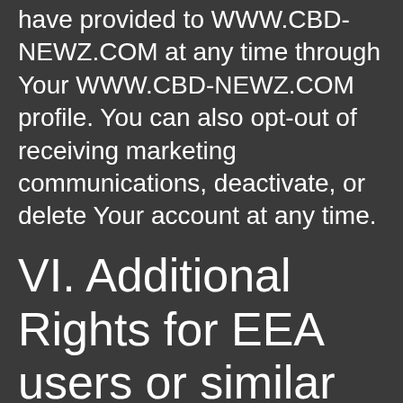have provided to WWW.CBD-NEWZ.COM at any time through Your WWW.CBD-NEWZ.COM profile. You can also opt-out of receiving marketing communications, deactivate, or delete Your account at any time.
VI. Additional Rights for EEA users or similar international areas
If You live in the European Economic Area, or a similar